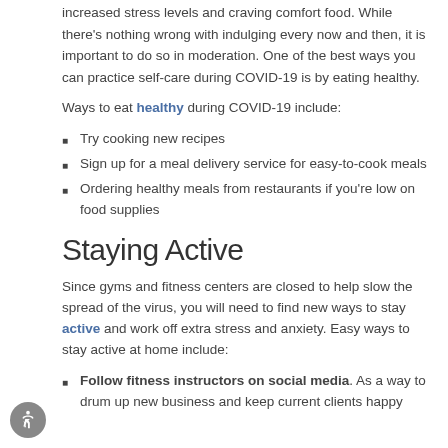increased stress levels and craving comfort food. While there's nothing wrong with indulging every now and then, it is important to do so in moderation. One of the best ways you can practice self-care during COVID-19 is by eating healthy.
Ways to eat healthy during COVID-19 include:
Try cooking new recipes
Sign up for a meal delivery service for easy-to-cook meals
Ordering healthy meals from restaurants if you're low on food supplies
Staying Active
Since gyms and fitness centers are closed to help slow the spread of the virus, you will need to find new ways to stay active and work off extra stress and anxiety. Easy ways to stay active at home include:
Follow fitness instructors on social media. As a way to drum up new business and keep current clients happy